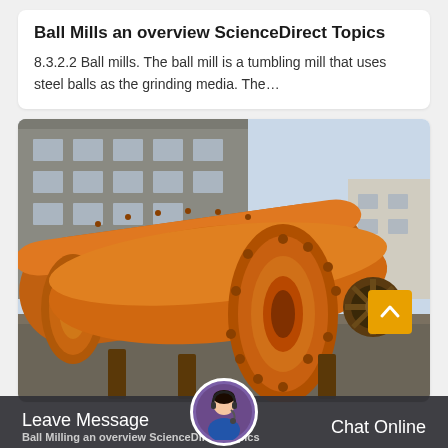Ball Mills an overview ScienceDirect Topics
8.3.2.2 Ball mills. The ball mill is a tumbling mill that uses steel balls as the grinding media. The...
[Figure (photo): Photograph of large orange industrial ball mills lying on the ground outside a factory building]
Leave Message   Chat Online
Ball Milling an overview ScienceDirect Topics